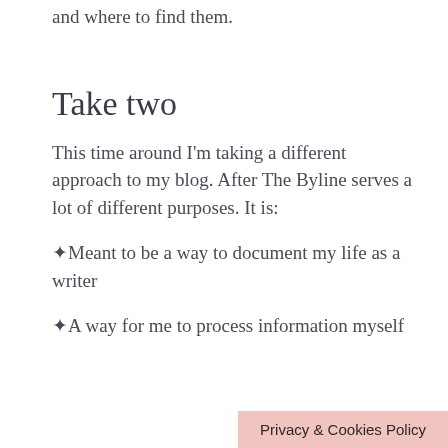and where to find them.
Take two
This time around I'm taking a different approach to my blog. After The Byline serves a lot of different purposes. It is:
✦Meant to be a way to document my life as a writer
✦A way for me to process information myself
Privacy & Cookies Policy